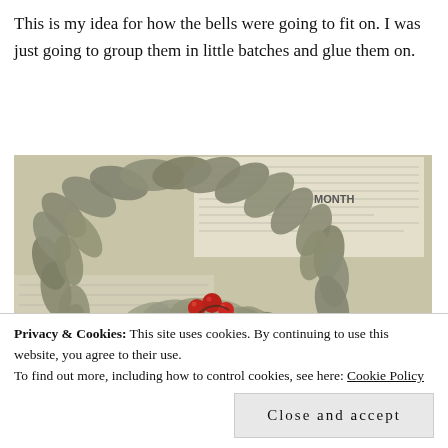This is my idea for how the bells were going to fit on. I was just going to group them in little batches and glue them on.
[Figure (photo): A wreath made of dried bay leaves with small red berries as decoration, placed on top of newspaper pages.]
Privacy & Cookies: This site uses cookies. By continuing to use this website, you agree to their use.
To find out more, including how to control cookies, see here: Cookie Policy
[Close and accept]